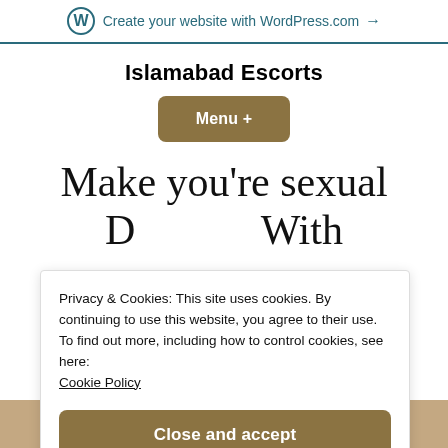Create your website with WordPress.com →
Islamabad Escorts
Menu +
Make you're sexual
Privacy & Cookies: This site uses cookies. By continuing to use this website, you agree to their use.
To find out more, including how to control cookies, see here:
Cookie Policy
Close and accept